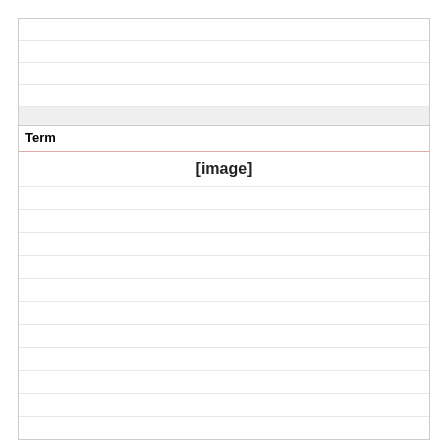Term
[Figure (other): [image] placeholder in Term section]
Definition
Ere Ibeji
Yoruba of Nigeria
Wood